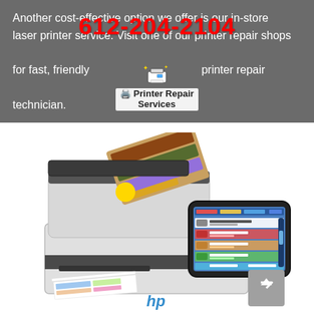Another cost-effective option we offer is our in-store laser printer service. Visit one of our printer repair shops for fast, friendly printer repair technician.
[Figure (photo): HP color laser multifunction printer with open scanner lid showing a colorful document being scanned, and a large touchscreen display showing printer status/job queue interface.]